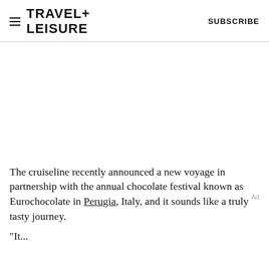TRAVEL+ LEISURE   SUBSCRIBE
[Figure (photo): White/blank image area below the header navigation]
The cruiseline recently announced a new voyage in partnership with the annual chocolate festival known as Eurochocolate in Perugia, Italy, and it sounds like a truly tasty journey.